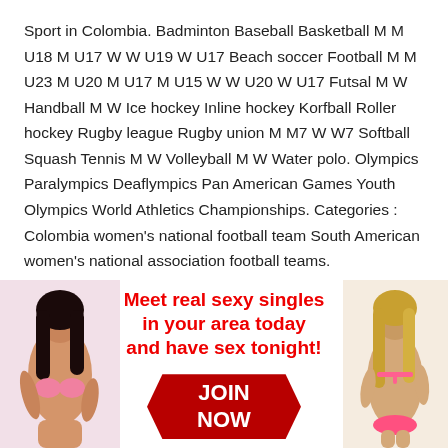Sport in Colombia. Badminton Baseball Basketball M M U18 M U17 W W U19 W U17 Beach soccer Football M M U23 M U20 M U17 M U15 W W U20 W U17 Futsal M W Handball M W Ice hockey Inline hockey Korfball Roller hockey Rugby league Rugby union M M7 W W7 Softball Squash Tennis M W Volleyball M W Water polo. Olympics Paralympics Deaflympics Pan American Games Youth Olympics World Athletics Championships. Categories : Colombia women's national football team South American women's national association football teams.
[Figure (illustration): Advertisement banner showing two women in swimwear flanking promotional text 'Meet real sexy singles in your area today and have sex tonight!' with a red JOIN NOW button and a red REGISTER button below.]